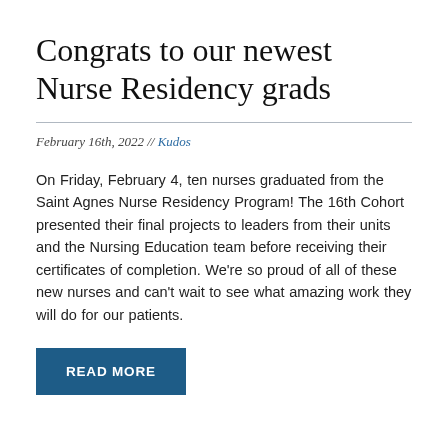Congrats to our newest Nurse Residency grads
February 16th, 2022 // Kudos
On Friday, February 4, ten nurses graduated from the Saint Agnes Nurse Residency Program! The 16th Cohort presented their final projects to leaders from their units and the Nursing Education team before receiving their certificates of completion. We're so proud of all of these new nurses and can't wait to see what amazing work they will do for our patients.
READ MORE